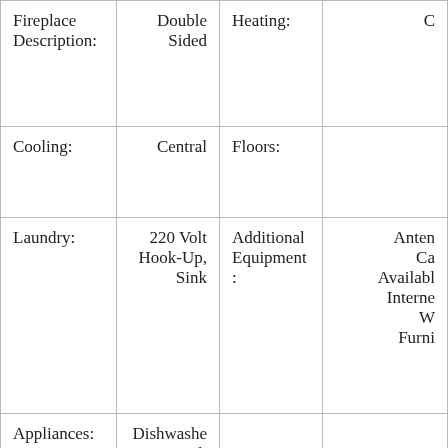| Fireplace Description: | Double Sided | Heating: | C... |
| Cooling: | Central | Floors: |  |
| Laundry: | 220 Volt Hook-Up, Sink | Additional Equipment: | Anten... Ca... Availabl... Interne... W... Furni... |
| Appliances: | Dishwasher, Disposal, Oven Elec F/S, Range Elec F/S |  |  |